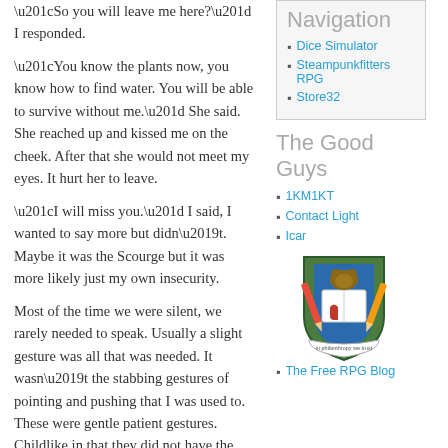“So you will leave me here?” I responded.
“You know the plants now, you know how to find water. You will be able to survive without me.” She said. She reached up and kissed me on the cheek. After that she would not meet my eyes. It hurt her to leave.
“I will miss you.” I said, I wanted to say more but didn’t. Maybe it was the Scourge but it was more likely just my own insecurity.
Most of the time we were silent, we rarely needed to speak. Usually a slight gesture was all that was needed. It wasn’t the stabbing gestures of pointing and pushing that I was used to. These were gentle patient gestures. Childlike in that they did not have the urgency that we Earthers were accustomed to. Now she
Navigation
Dice Simulator
Steampunkfitters RPG
Store32
The Good Guys
1KM1KT
Contact Light
Icar
[Figure (logo): Shield/crest logo with green and blue colors, pencils, open book, and banner reading 'in philanthropy we trust']
The Free RPG Blog